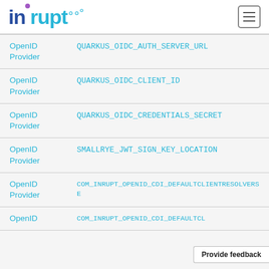inrupt
| Category | Environment Variable |
| --- | --- |
| OpenID Provider | QUARKUS_OIDC_AUTH_SERVER_URL |
| OpenID Provider | QUARKUS_OIDC_CLIENT_ID |
| OpenID Provider | QUARKUS_OIDC_CREDENTIALS_SECRET |
| OpenID Provider | SMALLRYE_JWT_SIGN_KEY_LOCATION |
| OpenID Provider | COM_INRUPT_OPENID_CDI_DEFAULTCLIENTRESOLVERSE... |
| OpenID | COM_INRUPT_OPENID_CDI_DEFAULTCL... |